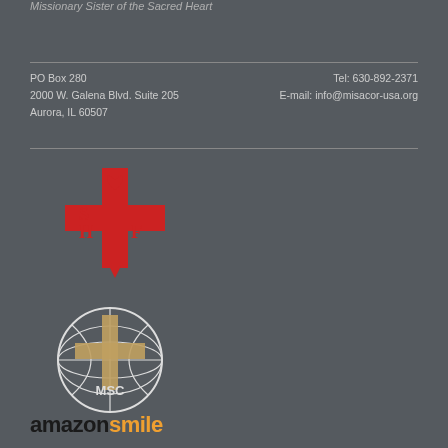Missionary Sister of the Sacred Heart
PO Box 280
2000 W. Galena Blvd. Suite 205
Aurora, IL 60507
Tel: 630-892-2371
E-mail: info@misacor-usa.org
[Figure (logo): SHF cross logo in red — Missionary Sisters of the Sacred Heart emblem with S, H, F letters and a heart]
[Figure (logo): MSC globe and cross logo in white outline — Missionary of the Sacred Heart emblem with MSC text]
[Figure (logo): AmazonSmile logo — amazon in black bold and smile in orange bold]